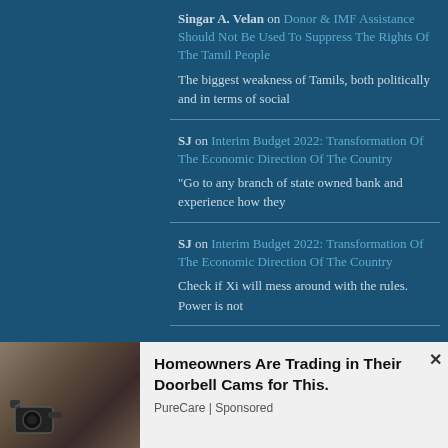Singar A. Velan on Donor & IMF Assistance Should Not Be Used To Suppress The Rights Of The Tamil People
The biggest weakness of Tamils, both politically and in terms of social
SJ on Interim Budget 2022: Transformation Of The Economic Direction Of The Country
"Go to any branch of state owned bank and experience how they
SJ on Interim Budget 2022: Transformation Of The Economic Direction Of The Country
Check if Xi will mess around with the rules. Power is not
SJ on Interim Budget 2022: Transformation Of The Economic Direction Of The Country
Sorry, We had not swung significantly before 1978. 1956 marked freeing the
[Figure (photo): Advertisement showing a security/doorbell camera image on the left, with text on the right reading 'Homeowners Are Trading in Their Doorbell Cams for This.' with 'PureCare | Sponsored' below.]